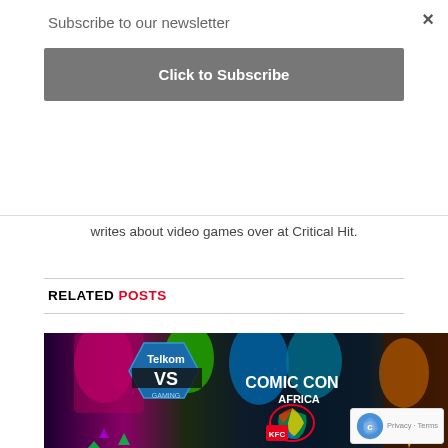×
Subscribe to our newsletter
Click to Subscribe
writes about video games over at Critical Hit.
RELATED POSTS
[Figure (photo): Telkom VS Gaming and Comic Con Africa promotional banner featuring colorful video game characters]